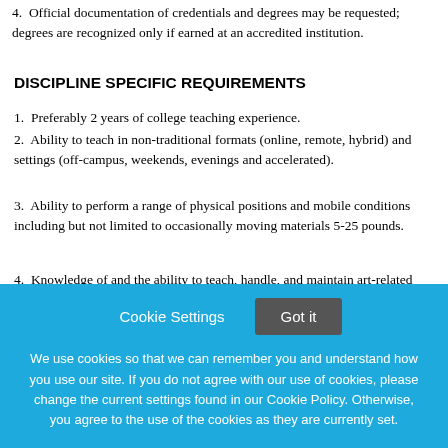4. Official documentation of credentials and degrees may be requested; degrees are recognized only if earned at an accredited institution.
DISCIPLINE SPECIFIC REQUIREMENTS
1. Preferably 2 years of college teaching experience.
2. Ability to teach in non-traditional formats (online, remote, hybrid) and settings (off-campus, weekends, evenings and accelerated).
3. Ability to perform a range of physical positions and mobile conditions including but not limited to occasionally moving materials 5-25 pounds.
4. Knowledge of and the ability to teach, handle, and maintain art-related materials, chemicals, and equipment in a safe and
We use cookies so that we can remember you and understand how you use our site. If you do not agree with our use of cookies, please change the current settings found in our Cookie Policy. Otherwise, you agree to the use of the cookies as they are currently set.